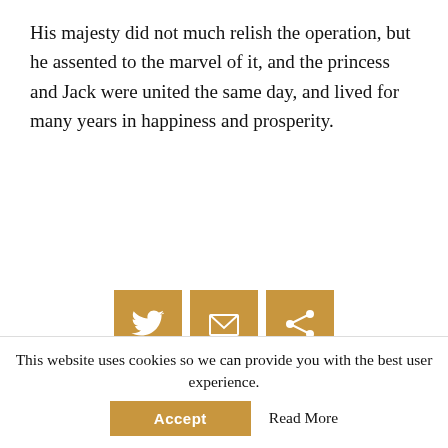His majesty did not much relish the operation, but he assented to the marvel of it, and the princess and Jack were united the same day, and lived for many years in happiness and prosperity.
[Figure (infographic): Three social media share buttons: Twitter bird icon, email/envelope icon, and share icon, all in golden-brown color]
NEXT STORY
The Hobyahs
PREV STORY
This website uses cookies so we can provide you with the best user experience.
Accept
Read More